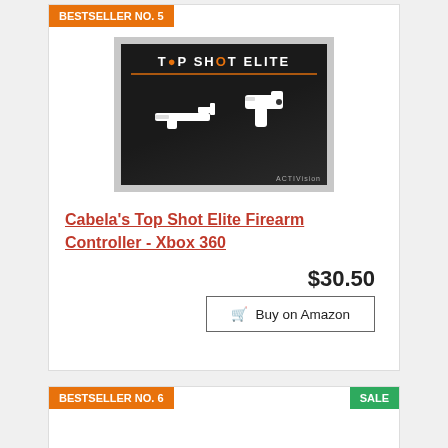BESTSELLER NO. 5
[Figure (photo): Product image of Cabela's Top Shot Elite Firearm Controller box for Xbox 360]
Cabela's Top Shot Elite Firearm Controller - Xbox 360
$30.50
Buy on Amazon
BESTSELLER NO. 6
SALE